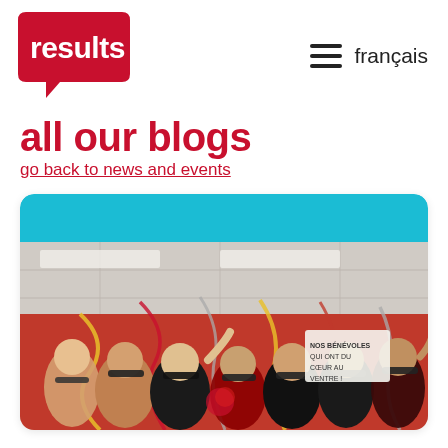[Figure (logo): Results Canada organization logo — white text 'results' on a red speech bubble shape]
≡  français
all our blogs
go back to news and events
[Figure (photo): Group photo of approximately 8-9 women wearing black face masks, celebrating indoors with colourful streamers, standing in front of a red wall. A sign in the background appears to be in French.]